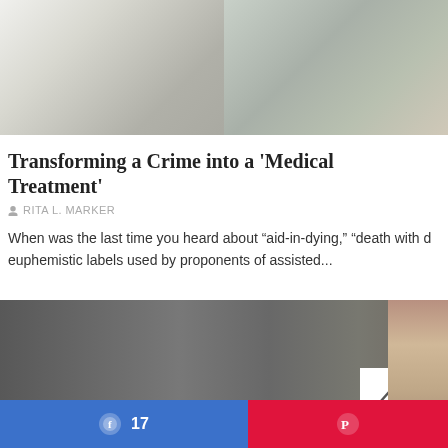[Figure (photo): Photo of a doctor in a white coat standing behind a patient wearing a hospital gown with a patterned design, viewed from behind. The patient appears to be seated.]
Transforming a Crime into a ‘Medical Treatment’
RITA L. MARKER
When was the last time you heard about “aid-in-dying,” “death with d euphemistic labels used by proponents of assisted...
[Figure (photo): Dark grey textured background photo, possibly a wall or marble surface. A scroll-to-top button (white box with upward chevron) appears in the lower right area. Part of a person's face is visible on the far right edge.]